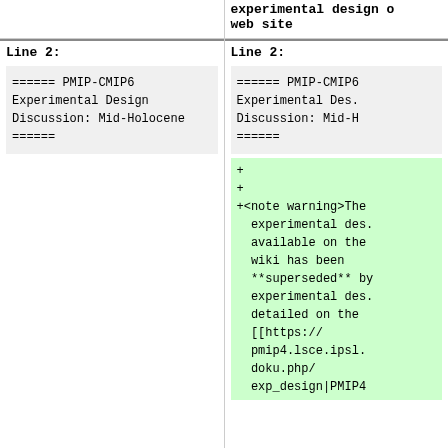experimental design o web site
Line 2:
====== PMIP-CMIP6
Experimental Design
Discussion: Mid-Holocene
======
Line 2:
====== PMIP-CMIP6
Experimental Design
Discussion: Mid-Holocene
======
+
+
+<note warning>The
experimental design
available on the
wiki has been
**superseded** by
experimental design
detailed on the
[[https://
pmip4.lsce.ipsl.
doku.php/
exp_design|PMIP4